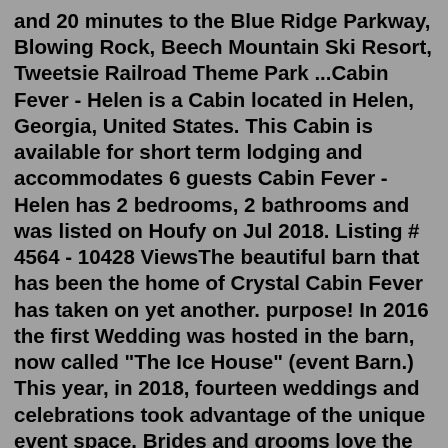and 20 minutes to the Blue Ridge Parkway, Blowing Rock, Beech Mountain Ski Resort, Tweetsie Railroad Theme Park ...Cabin Fever - Helen is a Cabin located in Helen, Georgia, United States. This Cabin is available for short term lodging and accommodates 6 guests Cabin Fever - Helen has 2 bedrooms, 2 bathrooms and was listed on Houfy on Jul 2018. Listing # 4564 - 10428 ViewsThe beautiful barn that has been the home of Crystal Cabin Fever has taken on yet another. purpose! In 2016 the first Wedding was hosted in the barn, now called "The Ice House" (event Barn.) This year, in 2018, fourteen weddings and celebrations took advantage of the unique event space. Brides and grooms love the barn for its natural and ...Cabin Fever is located in Townsend. The air-conditioned property is 26 miles from Sevierville. Providing a balcony with mountain views, this vacation home also has a cable TV, a well-equipped kitchen with a dishwasher, a microwave and a fridge, as well as a bathroom with a shower and free toiletries. Place is France is 23 miles from the attraction.